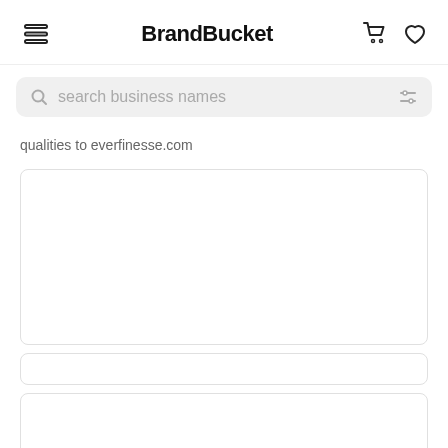BrandBucket
[Figure (screenshot): Search bar with placeholder text 'search business names' and filter icon]
qualities to everfinesse.com
[Figure (screenshot): Large white card placeholder area]
[Figure (screenshot): Thin white card placeholder area]
[Figure (screenshot): Bottom white card placeholder area]